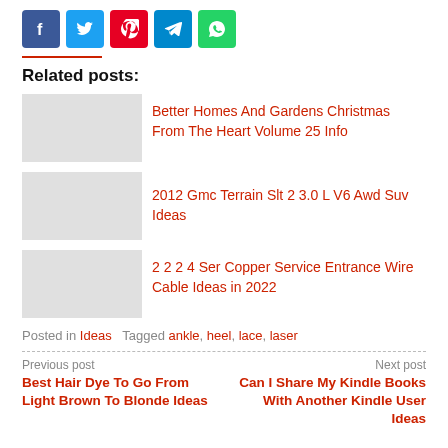[Figure (infographic): Row of 5 social media share icon buttons: Facebook (blue), Twitter (light blue), Pinterest (red), Telegram (blue), WhatsApp (green)]
Related posts:
Better Homes And Gardens Christmas From The Heart Volume 25 Info
2012 Gmc Terrain Slt 2 3.0 L V6 Awd Suv Ideas
2 2 2 4 Ser Copper Service Entrance Wire Cable Ideas in 2022
Posted in Ideas   Tagged ankle, heel, lace, laser
Previous post: Best Hair Dye To Go From Light Brown To Blonde Ideas | Next post: Can I Share My Kindle Books With Another Kindle User Ideas